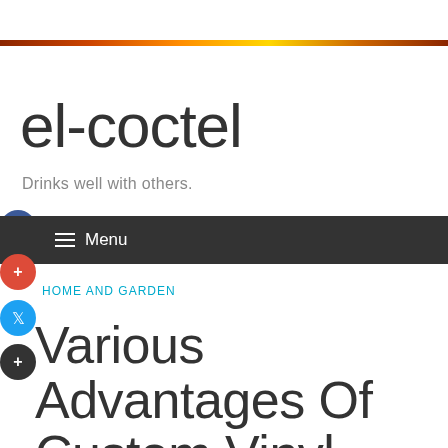el-coctel
Drinks well with others.
Menu
HOME AND GARDEN
Various Advantages Of Custom Vinyl Railing